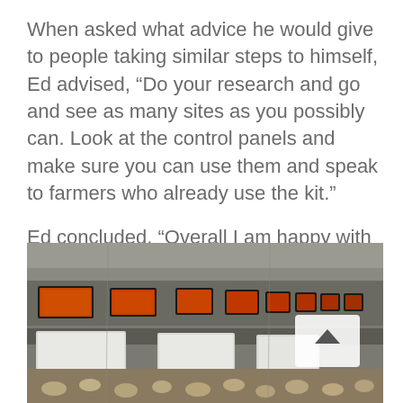When asked what advice he would give to people taking similar steps to himself, Ed advised, “Do your research and go and see as many sites as you possibly can. Look at the control panels and make sure you can use them and speak to farmers who already use the kit.”
Ed concluded, “Overall I am happy with both the kit and the experience working with Newquip”.
[Figure (photo): Interior of a poultry farm building showing a row of orange-lit control panels mounted high on the wall, white ventilation openings below them, and chickens visible at the bottom of the frame. A white scroll-up button overlay is visible on the right side.]